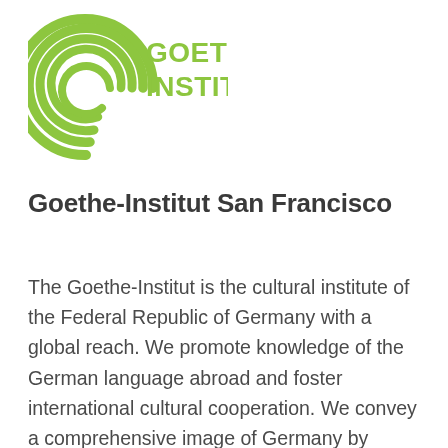[Figure (logo): Goethe-Institut logo: green spiral/arc symbol on the left and bold green text 'GOETHE INSTITUT' on the right]
Goethe-Institut San Francisco
The Goethe-Institut is the cultural institute of the Federal Republic of Germany with a global reach. We promote knowledge of the German language abroad and foster international cultural cooperation. We convey a comprehensive image of Germany by providing information about cultural, social and political life in our nation. Our cultural and educational programmes encourage intercultural dialogue and enable cultural involvement. They strengthen the development of structures in civil society and foster worldwide